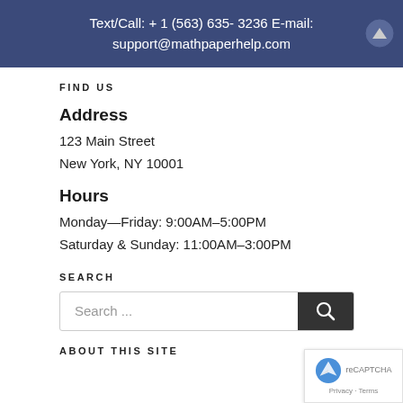Text/Call: + 1 (563) 635- 3236 E-mail: support@mathpaperhelp.com
FIND US
Address
123 Main Street
New York, NY 10001
Hours
Monday—Friday: 9:00AM–5:00PM
Saturday & Sunday: 11:00AM–3:00PM
SEARCH
Search ...
ABOUT THIS SITE